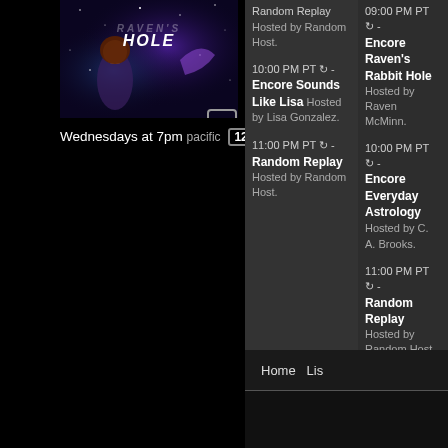[Figure (illustration): Show poster for Raven's Rabbit Hole with a girl and cosmic/nebula background, bold italic title text overlay]
Wednesdays at 7pm pacific [12]
Random Replay Hosted by Random Host.
10:00 PM PT ↻ - Encore Sounds Like Lisa Hosted by Lisa Gonzalez.
11:00 PM PT ↻ - Random Replay Hosted by Random Host.
09:00 PM PT ↻ - Encore Raven's Rabbit Hole Hosted by Raven McMinn.
10:00 PM PT ↻ - Encore Everyday Astrology Hosted by C. A. Brooks.
11:00 PM PT ↻ - Random Replay Hosted by Random Host.
Home  Lis…